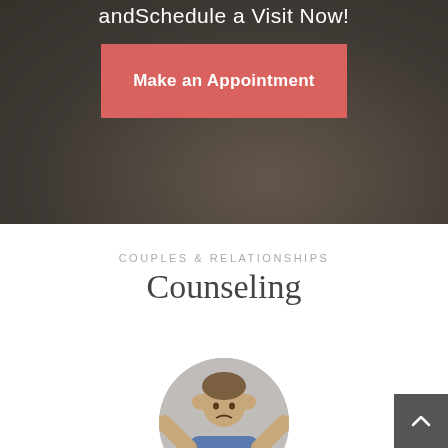andSchedule a Visit Now!
[Figure (illustration): Red/pink button with text 'Make an Appointment' on a dark blurred background]
COUPLES & RELATIONSHIPS
Counseling
[Figure (photo): Person with hands on head in distress, shown within a circular crop on gray background]
[Figure (illustration): Dark gray back-to-top button with upward chevron arrow in bottom-right corner]